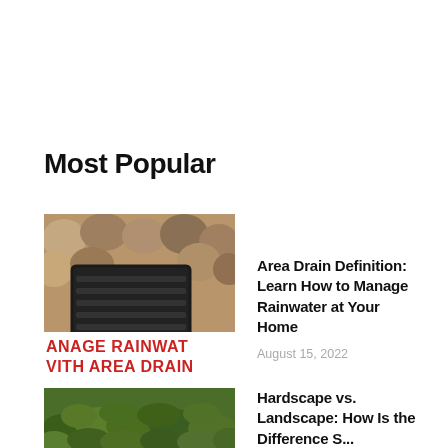Most Popular
[Figure (photo): Photo of an area drain surrounded by rounded river stones, with red text overlay reading 'MANAGE RAINWAT' and 'VITH AREA DRAIN']
Area Drain Definition: Learn How to Manage Rainwater at Your Home
August 15, 2022
[Figure (photo): Photo of green low ground-cover plants and shrubs in a landscape setting]
Hardscape vs. Landscape: How Is the Difference S...